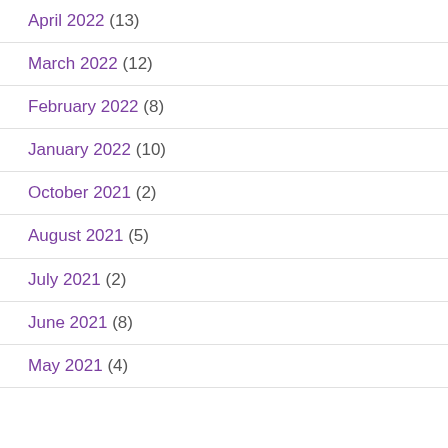April 2022 (13)
March 2022 (12)
February 2022 (8)
January 2022 (10)
October 2021 (2)
August 2021 (5)
July 2021 (2)
June 2021 (8)
May 2021 (4)